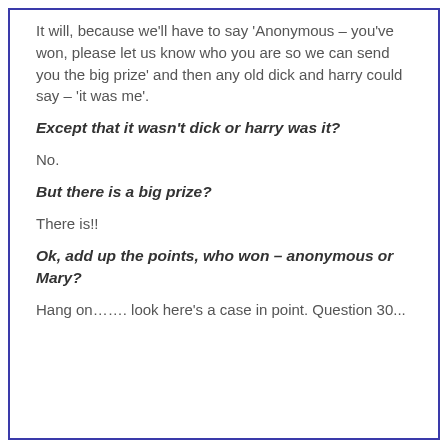It will, because we'll have to say 'Anonymous – you've won, please let us know who you are so we can send you the big prize' and then any old dick and harry could say – 'it was me'.
Except that it wasn't dick or harry was it?
No.
But there is a big prize?
There is!!
Ok, add up the points, who won – anonymous or Mary?
Hang on……. look here's a case in point. Question 30...